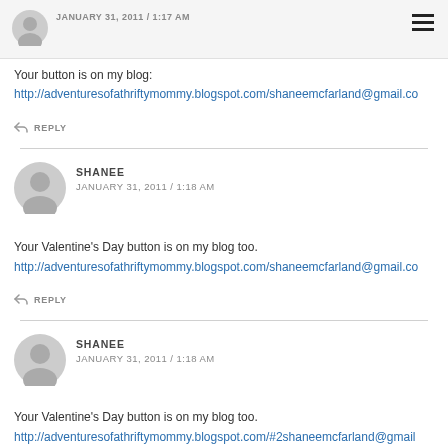JANUARY 31, 2011 / 1:17 AM
Your button is on my blog:
http://adventuresofathriftymommy.blogspot.com/shaneemcfarland@gmail.co
REPLY
SHANEE
JANUARY 31, 2011 / 1:18 AM
Your Valentine's Day button is on my blog too.
http://adventuresofathriftymommy.blogspot.com/shaneemcfarland@gmail.co
REPLY
SHANEE
JANUARY 31, 2011 / 1:18 AM
Your Valentine's Day button is on my blog too.
http://adventuresofathriftymommy.blogspot.com/#2shaneemcfarland@gmail